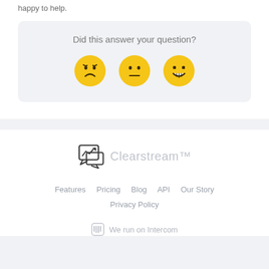happy to help.
Did this answer your question?
[Figure (infographic): Three emoji faces: disappointed (frowning), neutral, and happy (smiling), used as feedback buttons]
[Figure (logo): Clearstream logo with chat/graph icon and text 'Clearstream']
Features   Pricing   Blog   API   Our Story   Privacy Policy
We run on Intercom